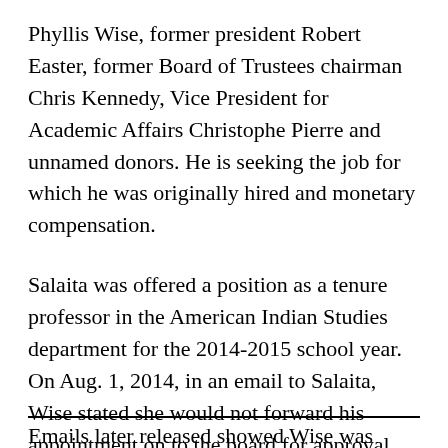Phyllis Wise, former president Robert Easter, former Board of Trustees chairman Chris Kennedy, Vice President for Academic Affairs Christophe Pierre and unnamed donors. He is seeking the job for which he was originally hired and monetary compensation.
Salaita was offered a position as a tenure professor in the American Indian Studies department for the 2014-2015 school year. On Aug. 1, 2014, in an email to Salaita, Wise stated she would not forward his appointment on to the board for approval, citing his recent tweets regarding the conflict in Gaza.
Emails later released showed Wise was...